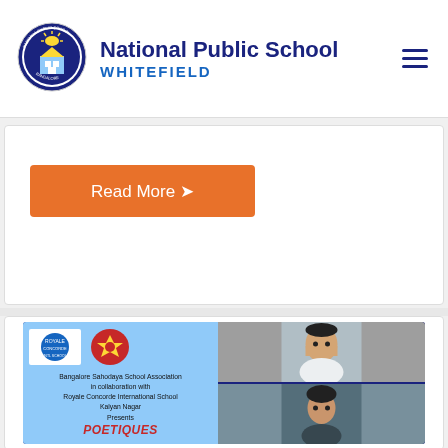National Public School WHITEFIELD
[Figure (logo): National Public School Bangalore circular logo with building and sun]
Read More
[Figure (infographic): Bangalore Sahodaya School Association in collaboration with Royale Concorde International School Kalyan Nagar Presents POETIQUES — with logos and student photos]